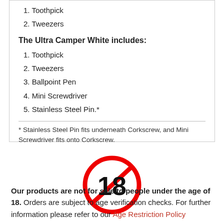1. Toothpick
2. Tweezers
The Ultra Camper White includes:
1. Toothpick
2. Tweezers
3. Ballpoint Pen
4. Mini Screwdriver
5. Stainless Steel Pin.*
* Stainless Steel Pin fits underneath Corkscrew, and Mini Screwdriver fits onto Corkscrew.
[Figure (illustration): Age restriction symbol: red circle with diagonal red line through bold number 18]
Our products are not for sale to people under the age of 18. Orders are subject to age verification checks. For further information please refer to our Age Restriction Policy